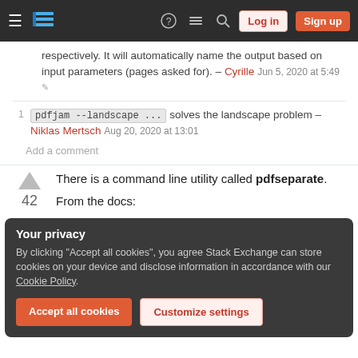Stack Exchange navigation bar with hamburger menu, logo, help, chat, search icons, Log in and Sign up buttons
respectively. It will automatically name the output based on input parameters (pages asked for). – Cyrille Jun 5, 2020 at 5:49
1  pdfjam --landscape ... solves the landscape problem – Niklas Mertsch Aug 20, 2020 at 13:01
Add a comment
There is a command line utility called pdfseparate.
From the docs:
Your privacy
By clicking "Accept all cookies", you agree Stack Exchange can store cookies on your device and disclose information in accordance with our Cookie Policy.
Accept all cookies   Customize settings